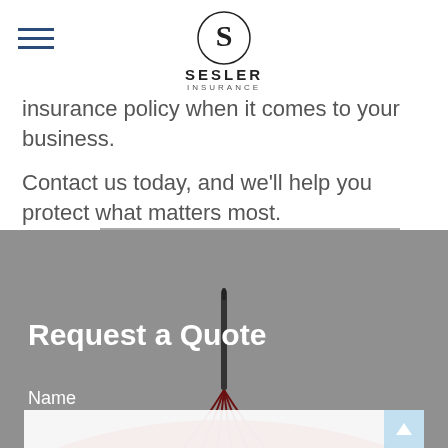Sesler Insurance
insurance policy when it comes to your business.
Contact us today, and we'll help you protect what matters most.
[Figure (photo): Red umbrella from above on grey background, used as decorative background for quote request form section]
Request a Quote
Name
(input field for name)